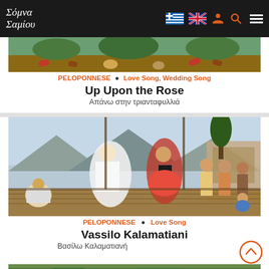Σόμνα Σαμίου — navigation bar with logo, Greek flag, UK flag, user icon, search icon, hamburger menu
[Figure (photo): Partial view of a Greek folk painting/artwork at top, showing colorful traditional scene with shoes visible]
PELOPONNESE • Love Song, Wedding Song
Up Upon the Rose
Απάνω στην τριανταφυλλιά
[Figure (photo): Greek folk painting showing women in traditional Peloponnesian costumes dancing and socializing on a veranda with mountains in background]
PELOPONNESE • Love Song
Vassilo Kalamatiani
Βασίλω Καλαματιανή
[Figure (photo): Partial view of another Greek folk painting at the bottom of the page]